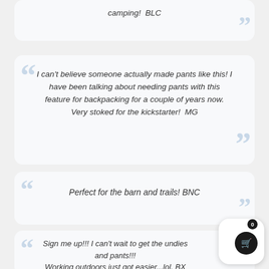camping! BLC
I can't believe someone actually made pants like this! I have been talking about needing pants with this feature for backpacking for a couple of years now. Very stoked for the kickstarter! MG
Perfect for the barn and trails! BNC
Sign me up!!! I can't wait to get the undies and pants!!! Working outdoors just got easier...lol. BX